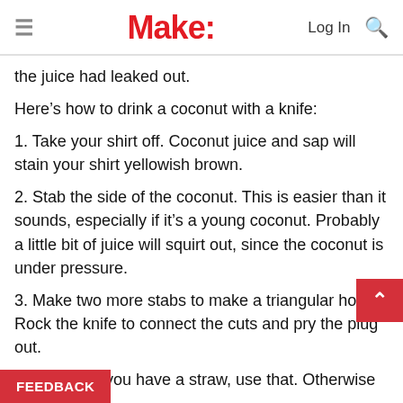Make:
the juice had leaked out.
Here's how to drink a coconut with a knife:
1. Take your shirt off. Coconut juice and sap will stain your shirt yellowish brown.
2. Stab the side of the coconut. This is easier than it sounds, especially if it's a young coconut. Probably a little bit of juice will squirt out, since the coconut is under pressure.
3. Make two more stabs to make a triangular hole. Rock the knife to connect the cuts and pry the plug out.
4. Drink it. If you have a straw, use that. Otherwise